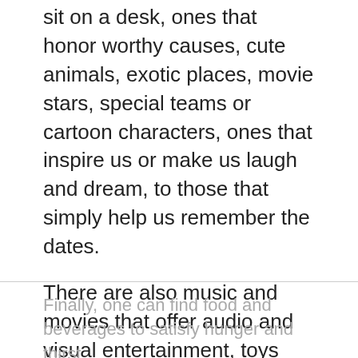sit on a desk, ones that honor worthy causes, cute animals, exotic places, movie stars, special teams or cartoon characters, ones that inspire us or make us laugh and dream, to those that simply help us remember the dates.
There are also music and movies that offer audio and visual entertainment, toys that reflect the latest book or movie craze or that help children learn to count or to develop amazing skills, stuffed animals and puppets to soothe and entertain kids.
Finally, one can find food and beverages to satisfy hunger and thirst